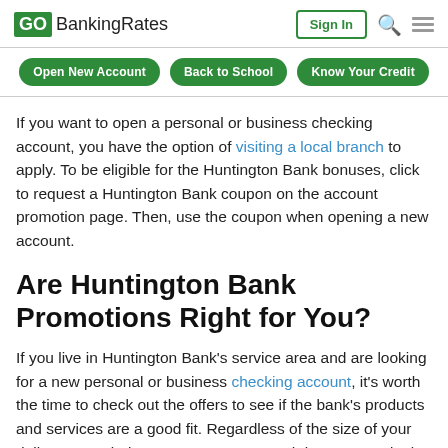GOBankingRates — Sign In
Open New Account   Back to School   Know Your Credit
If you want to open a personal or business checking account, you have the option of visiting a local branch to apply. To be eligible for the Huntington Bank bonuses, click to request a Huntington Bank coupon on the account promotion page. Then, use the coupon when opening a new account.
Are Huntington Bank Promotions Right for You?
If you live in Huntington Bank's service area and are looking for a new personal or business checking account, it's worth the time to check out the offers to see if the bank's products and services are a good fit. Regardless of the size of your daily account balance, you can earn cash bonuses and take